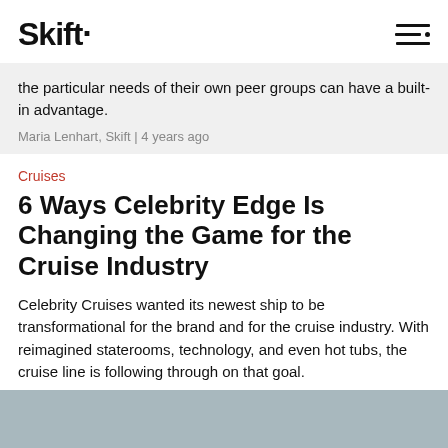Skift
the particular needs of their own peer groups can have a built-in advantage.
Maria Lenhart, Skift | 4 years ago
Cruises
6 Ways Celebrity Edge Is Changing the Game for the Cruise Industry
Celebrity Cruises wanted its newest ship to be transformational for the brand and for the cruise industry. With reimagined staterooms, technology, and even hot tubs, the cruise line is following through on that goal.
Hannah Sampson, Skift | 4 years ago
[Figure (photo): Blue-grey image placeholder at bottom of page]